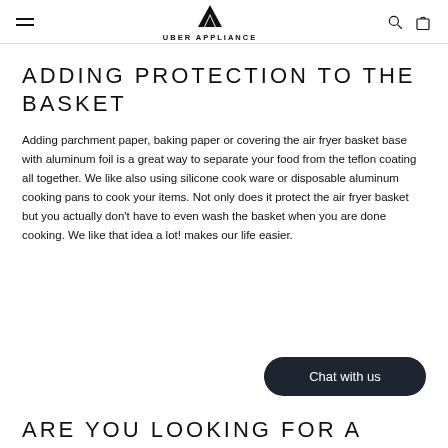UBER APPLIANCE
ADDING PROTECTION TO THE BASKET
Adding parchment paper, baking paper or covering the air fryer basket base with aluminum foil is a great way to separate your food from the teflon coating all together. We like also using silicone cook ware or disposable aluminum cooking pans to cook your items. Not only does it protect the air fryer basket but you actually don't have to even wash the basket when you are done cooking. We like that idea a lot! makes our life easier.
Chat with us
ARE YOU LOOKING FOR A